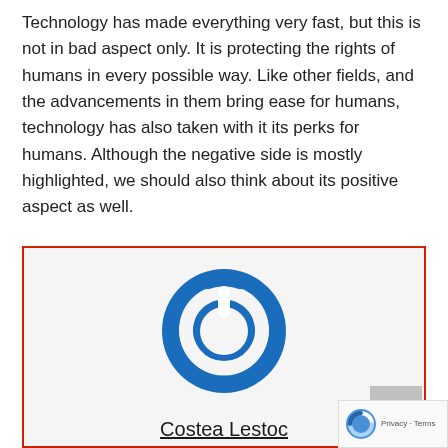Technology has made everything very fast, but this is not in bad aspect only. It is protecting the rights of humans in every possible way. Like other fields, and the advancements in them bring ease for humans, technology has also taken with it its perks for humans. Although the negative side is mostly highlighted, we should also think about its positive aspect as well.
[Figure (logo): Blue circular power button icon / logo]
Costea Lestoc
I began writing as a professional on my personal blog and discovered my true calling, which is writing about technology and gadgets in general. I am a technical writer, author and